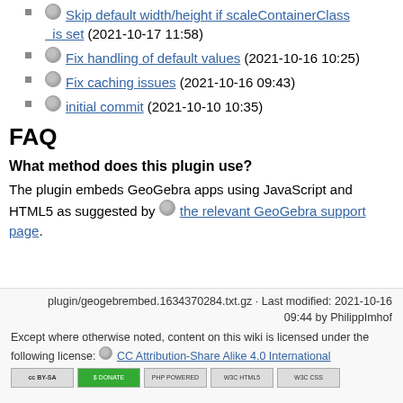Skip default width/height if scaleContainerClass is set (2021-10-17 11:58)
Fix handling of default values (2021-10-16 10:25)
Fix caching issues (2021-10-16 09:43)
initial commit (2021-10-10 10:35)
FAQ
What method does this plugin use?
The plugin embeds GeoGebra apps using JavaScript and HTML5 as suggested by the relevant GeoGebra support page.
plugin/geogebrembed.1634370284.txt.gz · Last modified: 2021-10-16 09:44 by PhilippImhof
Except where otherwise noted, content on this wiki is licensed under the following license: CC Attribution-Share Alike 4.0 International